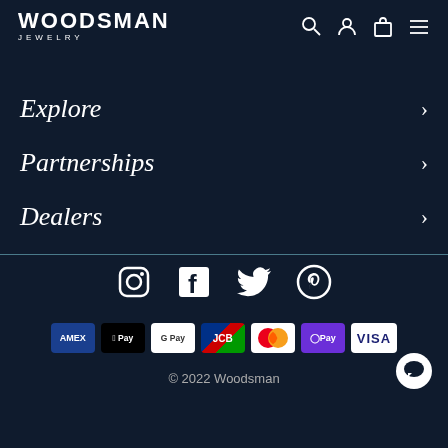WOODSMAN JEWELRY
Explore
Partnerships
Dealers
[Figure (other): Social media icons: Instagram, Facebook, Twitter, Pinterest]
[Figure (other): Payment method badges: AMEX, Apple Pay, Google Pay, JCB, Mastercard, O Pay, VISA]
© 2022 Woodsman